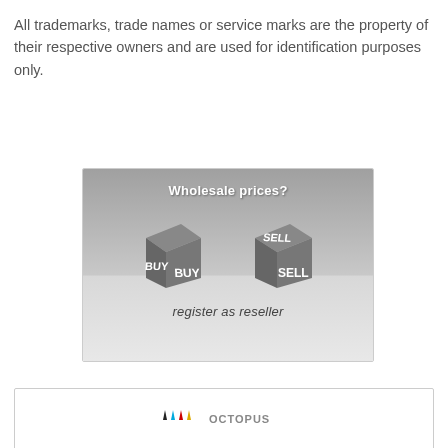All trademarks, trade names or service marks are the property of their respective owners and are used for identification purposes only.
[Figure (illustration): Advertisement image showing two 3D gray cubes labeled BUY BUY and SELL SELL against a gray gradient background with text 'Wholesale prices?' at top and 'register as reseller' at bottom.]
[Figure (photo): Partial image showing Octopus brand ink bottles (black, cyan, red, yellow) with logo at top, cropped at bottom of page.]